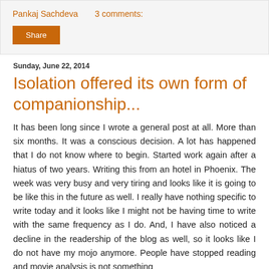Pankaj Sachdeva    3 comments:
Share
Sunday, June 22, 2014
Isolation offered its own form of companionship...
It has been long since I wrote a general post at all. More than six months. It was a conscious decision. A lot has happened that I do not know where to begin. Started work again after a hiatus of two years. Writing this from an hotel in Phoenix. The week was very busy and very tiring and looks like it is going to be like this in the future as well. I really have nothing specific to write today and it looks like I might not be having time to write with the same frequency as I do. And, I have also noticed a decline in the readership of the blog as well, so it looks like I do not have my mojo anymore. People have stopped reading and movie analysis is not something